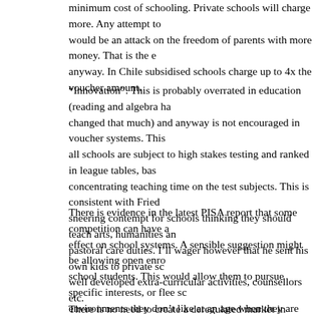minimum cost of schooling. Private schools will charge more. Any attempt to cap this would be an attack on the freedom of parents with more money. That is the e anyway. In Chile subsidised schools charge up to 4x the voucher amount.
“Innovation”. This is probably overrated in education (reading and algebra ha changed that much) and anyway is not encouraged in voucher systems. This all schools are subject to high stakes testing and ranked in league tables, bas concentrating teaching time on the test subjects. This is consistent with Fried sneering contempt for schools thinking they should teach arts, humanities an pastoral care duties. I’ll wager however that he sent his own kids to private s well developed extra-curricular activities, counsellors etc.
There is evidence in the latest PISA report that some competition can have a effect on school systems. A sensible suggestion might be allowing open enro school students. This would allow them to pursue specific interests, or flee so environments they don’t like at an age when they are able to travel to school themselves. No need for ‘vouchers’. Other neo-liberal education ideas like pe pay and cutting funds to schools which perform badly in tests correlate very n with performance. Sorry but it’s true.
There is no need to create a deregulated market in elementary schooling, or level. This will only result in education opportunities being differentiated acco